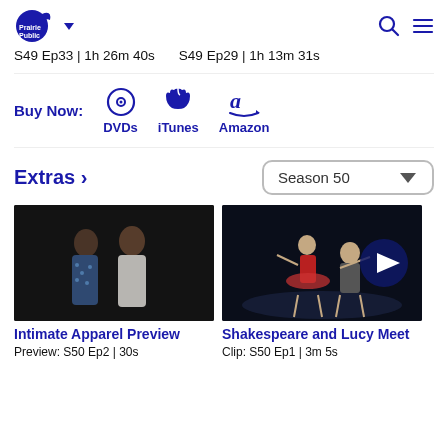Prairie Public | S49 Ep33 | 1h 26m 40s | S49 Ep29 | 1h 13m 31s
Buy Now: DVDs | iTunes | Amazon
Extras >
[Figure (screenshot): Two people facing each other closely on stage — Intimate Apparel Preview]
Intimate Apparel Preview
Preview: S50 Ep2 | 30s
[Figure (screenshot): Two ballet dancers on stage — Shakespeare and Lucy Meet]
Shakespeare and Lucy Meet
Clip: S50 Ep1 | 3m 5s